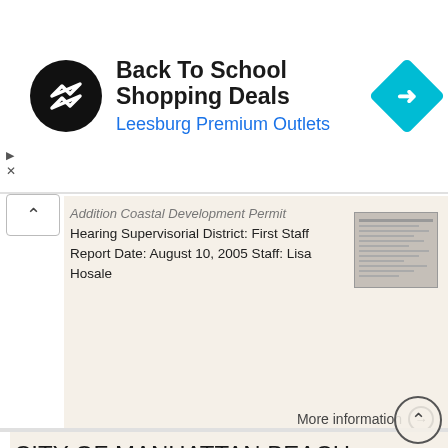[Figure (screenshot): Advertisement banner for Back To School Shopping Deals at Leesburg Premium Outlets with logo and cyan arrow direction icon]
Addition Coastal Development Permit Hearing Supervisorial District: First Staff Report Date: August 10, 2005 Staff: Lisa Hosale
More information →
CITY OF MANHATTAN BEACH COMMUNITY DEVELOPMENT DEPARTMENT STAFF REPORT. Marisa Lundstedt, Director of
CITY OF MANHATTAN BEACH COMMUNITY DEVELOPMENT DEPARTMENT STAFF REPORT TO: FROM: Planning Commission Marisa Lundstedt, Director of Community Development THROUGH: Laurie B. Jester, Planning Manager BY: Ted